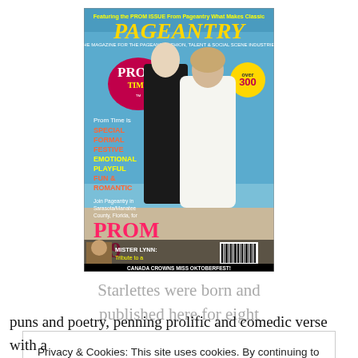[Figure (photo): Cover of Pageantry magazine, Prom Time issue. Shows a couple in formal wear on a beach — man in black tuxedo, woman in white gown. Text on cover includes: 'PAGEANTRY', 'PROM TIME', 'Prom Time is SPECIAL FORMAL FESTIVE EMOTIONAL PLAYFUL FUN & ROMANTIC', 'PROM \'99', 'MISTER LYNN: Tribute to a Pageant Legend', 'CANADA CROWNS MISS OKTOBERFEST!']
Starlettes were born and published here for eight
Privacy & Cookies: This site uses cookies. By continuing to use this website, you agree to their use.
To find out more, including how to control cookies, see here: Cookie Policy
puns and poetry, penning prolific and comedic verse with a